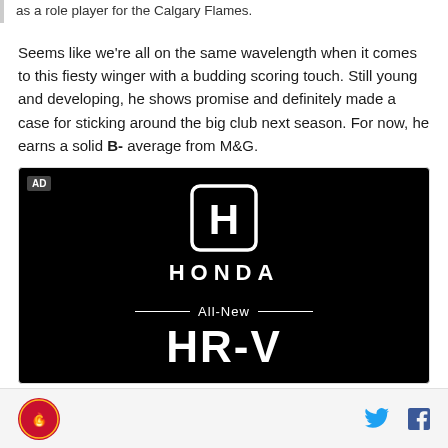as a role player for the Calgary Flames.
Seems like we're all on the same wavelength when it comes to this fiesty winger with a budding scoring touch. Still young and developing, he shows promise and definitely made a case for sticking around the big club next season. For now, he earns a solid B- average from M&G.
[Figure (photo): Honda advertisement on black background showing Honda logo, brand name, and 'All-New HRV' text]
Flames logo icon | Twitter icon | Facebook icon